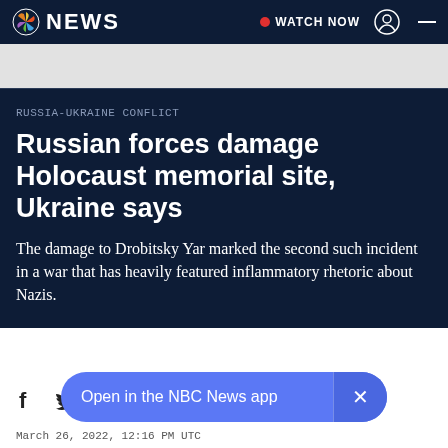NBC NEWS | WATCH NOW
RUSSIA-UKRAINE CONFLICT
Russian forces damage Holocaust memorial site, Ukraine says
The damage to Drobitsky Yar marked the second such incident in a war that has heavily featured inflammatory rhetoric about Nazis.
Open in the NBC News app
March 26, 2022, 12:16 PM UTC